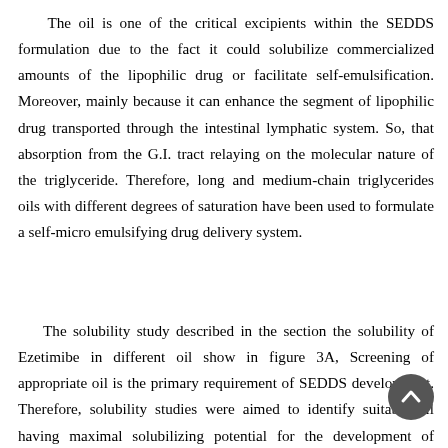The oil is one of the critical excipients within the SEDDS formulation due to the fact it could solubilize commercialized amounts of the lipophilic drug or facilitate self-emulsification. Moreover, mainly because it can enhance the segment of lipophilic drug transported through the intestinal lymphatic system. So, that absorption from the G.I. tract relaying on the molecular nature of the triglyceride. Therefore, long and medium-chain triglycerides oils with different degrees of saturation have been used to formulate a self-micro emulsifying drug delivery system.
The solubility study described in the section the solubility of Ezetimibe in different oil show in figure 3A, Screening of appropriate oil is the primary requirement of SEDDS development. Therefore, solubility studies were aimed to identify suitable oil having maximal solubilizing potential for the development of SEDDS. Capmul PG-8 was found to solubilize the maximum amount of Ezetimibe (99.73 mg/ml) among the selected oil. However, the other oils exhibited